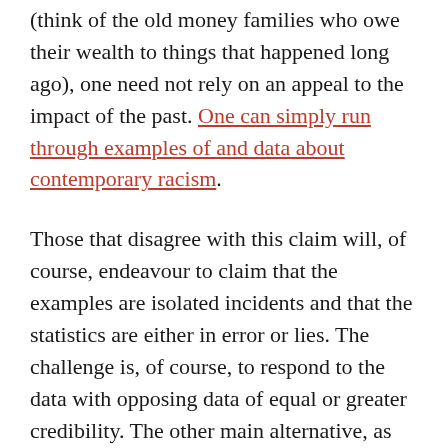(think of the old money families who owe their wealth to things that happened long ago), one need not rely on an appeal to the impact of the past. One can simply run through examples of and data about contemporary racism.
Those that disagree with this claim will, of course, endeavour to claim that the examples are isolated incidents and that the statistics are either in error or lies. The challenge is, of course, to respond to the data with opposing data of equal or greater credibility. The other main alternative, as noted above, is to persist in arguing that while the harms are real, they are self-inflicted. While people are obviously